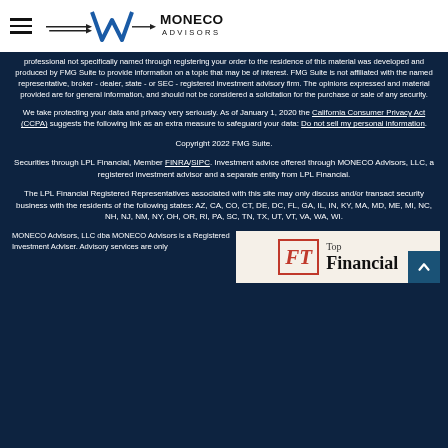MONECO ADVISORS
professional not specifically named through registering your order to the residence of this material was developed and produced by FMG Suite to provide information on a topic that may be of interest. FMG Suite is not affiliated with the named representative, broker - dealer, state - or SEC - registered investment advisory firm. The opinions expressed and material provided are for general information, and should not be considered a solicitation for the purchase or sale of any security.
We take protecting your data and privacy very seriously. As of January 1, 2020 the California Consumer Privacy Act (CCPA) suggests the following link as an extra measure to safeguard your data: Do not sell my personal information.
Copyright 2022 FMG Suite.
Securities through LPL Financial, Member FINRA/SIPC. Investment advice offered through MONECO Advisors, LLC, a registered investment advisor and a separate entity from LPL Financial.
The LPL Financial Registered Representatives associated with this site may only discuss and/or transact security business with the residents of the following states: AZ, CA, CO, CT, DE, DC, FL, GA, IL, IN, KY, MA, MD, ME, MI, NC, NH, NJ, NM, NY, OH, OR, RI, PA, SC, TN, TX, UT, VT, VA, WA, WI.
MONECO Advisors, LLC dba MONECO Advisors is a Registered Investment Adviser. Advisory services are only
[Figure (logo): FT Top Financial logo badge]